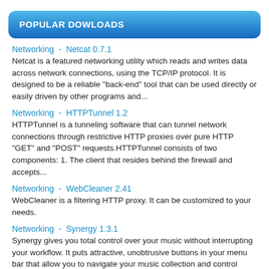POPULAR DOWLOADS
Networking  -  Netcat 0.7.1
Netcat is a featured networking utility which reads and writes data across network connections, using the TCP/IP protocol. It is designed to be a reliable "back-end" tool that can be used directly or easily driven by other programs and...
Networking  -  HTTPTunnel 1.2
HTTPTunnel is a tunneling software that can tunnel network connections through restrictive HTTP proxies over pure HTTP "GET" and "POST" requests.HTTPTunnel consists of two components: 1. The client that resides behind the firewall and accepts...
Networking  -  WebCleaner 2.41
WebCleaner is a filtering HTTP proxy. It can be customized to your needs.
Networking  -  Synergy 1.3.1
Synergy gives you total control over your music without interrupting your workflow. It puts attractive, unobtrusive buttons in your menu bar that allow you to navigate your music collection and control iTunes without